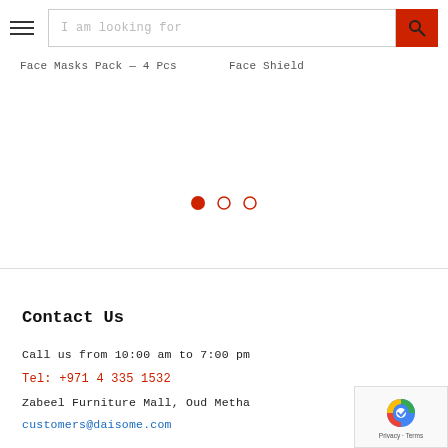I am looking for
Face Masks Pack — 4 Pcs     Face Shield
[Figure (other): Pagination indicator with three dots: first dot filled red, second and third circles empty/outline]
Contact Us
Call us from 10:00 am to 7:00 pm
Tel: +971 4 335 1532
Zabeel Furniture Mall, Oud Metha
customers@daisome.com
[Figure (logo): reCAPTCHA badge with Google reCAPTCHA icon and Privacy · Terms text]